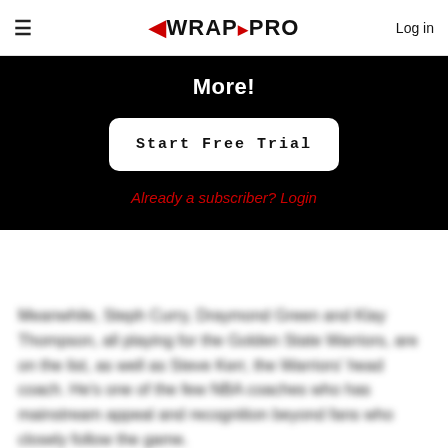WRAP PRO | Log in
More!
Start Free Trial
Already a subscriber? Login
Meanwhile, Steph Curry, Draymond Green and Klay Thompson, all playing for the Golden State Warriors, are on the list, as well as Steve Kerr, the Warriors' head coach. He's one of the few NBA coaches who has mainstream appeal and recognition beyond fans who closely follow the game.